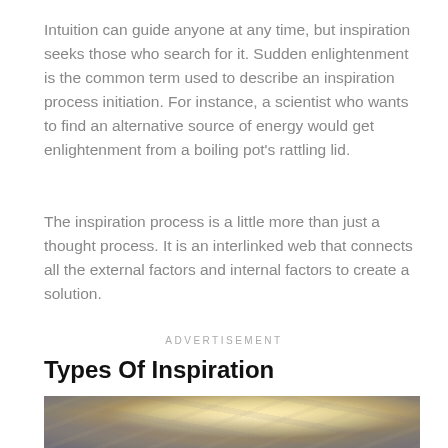Intuition can guide anyone at any time, but inspiration seeks those who search for it. Sudden enlightenment is the common term used to describe an inspiration process initiation. For instance, a scientist who wants to find an alternative source of energy would get enlightenment from a boiling pot's rattling lid.
The inspiration process is a little more than just a thought process. It is an interlinked web that connects all the external factors and internal factors to create a solution.
ADVERTISEMENT
Types Of Inspiration
[Figure (photo): A dramatic sky photograph showing clouds illuminated by sunlight, with warm golden and beige tones in the center and darker grey-blue clouds around the edges.]